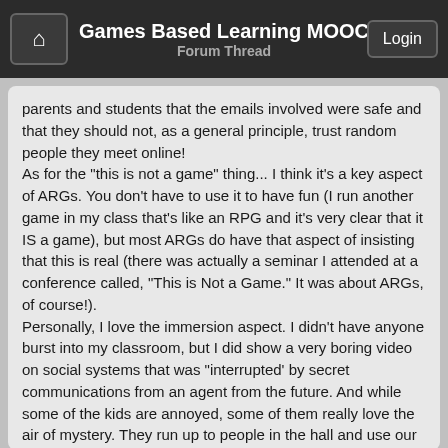Games Based Learning MOOC — Forum Thread
parents and students that the emails involved were safe and that they should not, as a general principle, trust random people they meet online!
As for the "this is not a game" thing... I think it's a key aspect of ARGs. You don't have to use it to have fun (I run another game in my class that's like an RPG and it's very clear that it IS a game), but most ARGs do have that aspect of insisting that this is real (there was actually a seminar I attended at a conference called, "This is Not a Game." It was about ARGs, of course!).
Personally, I love the immersion aspect. I didn't have anyone burst into my classroom, but I did show a very boring video on social systems that was "interrupted' by secret communications from an agent from the future. And while some of the kids are annoyed, some of them really love the air of mystery. They run up to people in the hall and use our "code phrase" to see if they're part of the agency.
So I guess you can't please everyone ;) For me, the "this is not a game" aspect is important, but certainly you COULD run a game